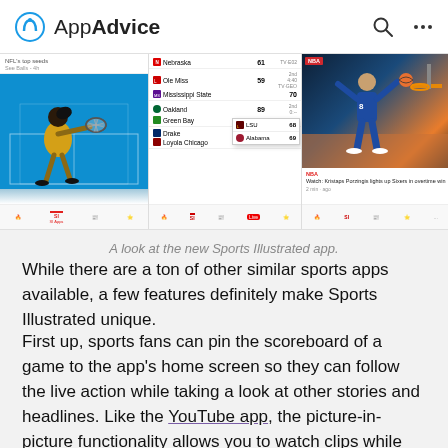AppAdvice
[Figure (screenshot): Screenshot of Sports Illustrated app showing tennis player, live scores, and NBA basketball content]
A look at the new Sports Illustrated app.
While there are a ton of other similar sports apps available, a few features definitely make Sports Illustrated unique.
First up, sports fans can pin the scoreboard of a game to the app's home screen so they can follow the live action while taking a look at other stories and headlines. Like the YouTube app, the picture-in-picture functionality allows you to watch clips while being able to explore the sports world simultaneously.